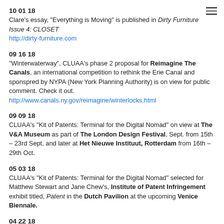10 01 18
Clare's essay, "Everything is Moving" is published in Dirty Furniture Issue 4: CLOSET
http://dirty-furniture.com
09 16 18
"Winterwaterway", CLUAA's phase 2 proposal for Reimagine The Canals, an international competition to rethink the Erie Canal and sponspred by NYPA (New York Planning Authority) is on view for public comment. Check it out. http://www.canals.ny.gov/reimagine/winterlocks.html
09 09 18
CLUAA's "Kit of Patents: Terminal for the Digital Nomad" on view at The V&A Museum as part of The London Design Festival, Sept. from 15th – 23rd Sept, and later at Het Nieuwe Instituut, Rotterdam from 16th – 29th Oct.
05 03 18
CLUAA's "Kit of Patents: Terminal for the Digital Nomad" selected for Matthew Stewart and Jane Chew's, Institute of Patent Infringement exhibit titled, Patent in the Dutch Pavilion at the upcoming Venice Biennale.
04 22 18